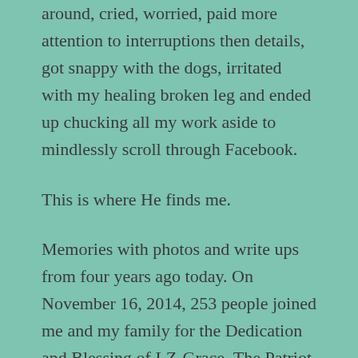around, cried, worried, paid more attention to interruptions then details, got snappy with the dogs, irritated with my healing broken leg and ended up chucking all my work aside to mindlessly scroll through Facebook.
This is where He finds me.
Memories with photos and write ups from four years ago today. On November 16, 2014, 253 people joined me and my family for the Dedication and Blessing of LZ-Grace. The Patriot Guard arrived with American Flags in all their glory, esteemed speakers flew in from across the country and neighboring states to speak. Music played. The choir sang. The Warriors Fire-Pit, built by an Eagle Scout and his Troop, was lit for the first time. Prayers were said. Brothers reunited. On that day, five months